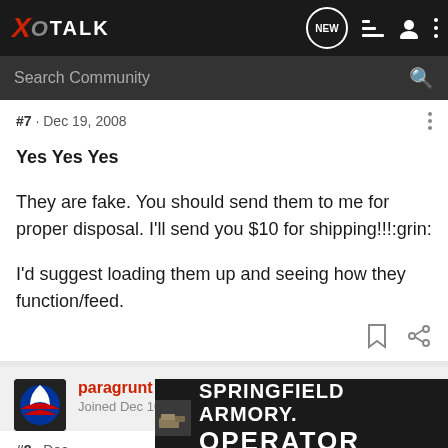XO TALK
Search Community
#7 · Dec 19, 2008
Yes Yes Yes

They are fake. You should send them to me for proper disposal. I'll send you $10 for shipping!!!:grin:

I'd suggest loading them up and seeing how they function/feed.
paragrunt · Registered
Joined Dec 10, 2008 · 156 Posts
#8 · Dec
[Figure (screenshot): Springfield Armory Operator advertisement banner at bottom of page]